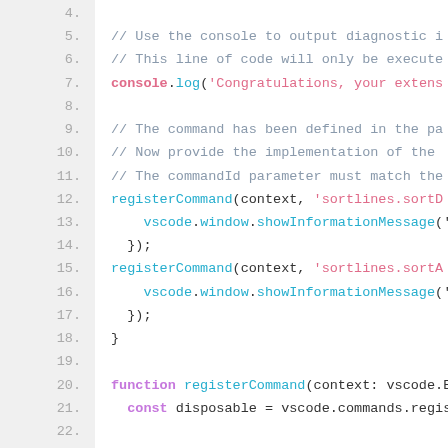[Figure (screenshot): Code editor screenshot showing TypeScript/JavaScript code with syntax highlighting, lines 4–24, including registerCommand calls, console.log, and function definition. Line numbers shown on the left in gray, comments in blue-gray, keywords in pink/purple, string literals in pink, and method calls in cyan.]